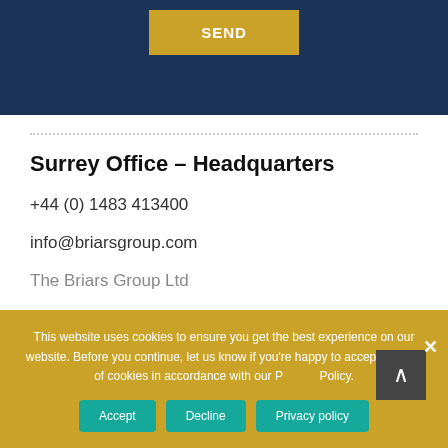[Figure (other): Dark navy blue form section with a gold/yellow 'SEND' button centered at the top]
Surrey Office – Headquarters
+44 (0) 1483 413400
info@briarsgroup.com
The Briars Group Ltd
This website uses cookies to ensure you get the best experience on our website. Before you continue, let us know if you're happy to accept the use of cookies in accordance with our Privacy Policy.